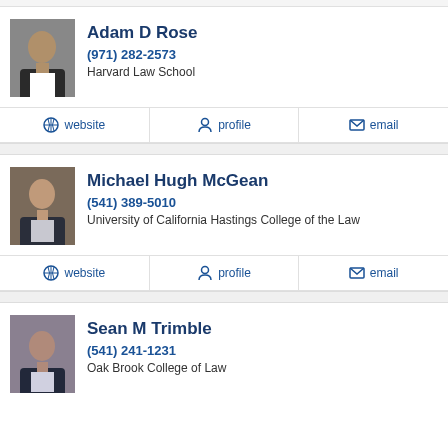Adam D Rose
(971) 282-2573
Harvard Law School
website | profile | email
Michael Hugh McGean
(541) 389-5010
University of California Hastings College of the Law
website | profile | email
Sean M Trimble
(541) 241-1231
Oak Brook College of Law